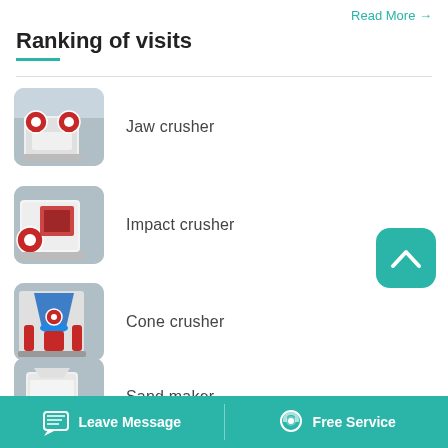Read More →
Ranking of visits
Jaw crusher
Impact crusher
Cone crusher
Sand maker
Ball mill
Leave Message   Free Service